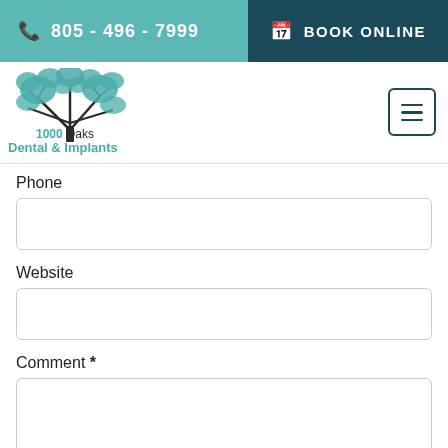805 - 496 - 7999   BOOK ONLINE
[Figure (logo): 1000 Oaks Dental & Implants logo with teal tree illustration and text]
Phone
Website
Comment *